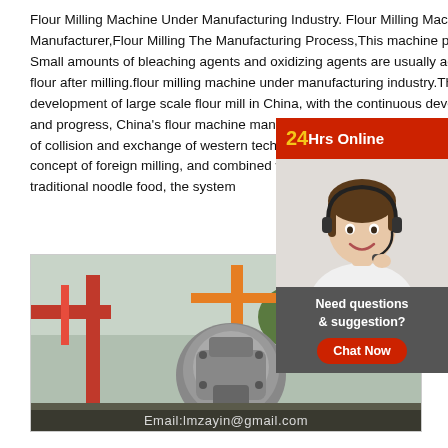Flour Milling Machine Under Manufacturing Industry. Flour Milling Machine Manufacturer,Flour Milling The Manufacturing Process,This machine passes 15 Small amounts of bleaching agents and oxidizing agents are usually added to the flour after milling.flour milling machine under manufacturing industry.The development of large scale flour mill in China, with the continuous development and progress, China's flour machine manufacturing industry, more than 20 years of collision and exchange of western technology, we digested and absorbed the concept of foreign milling, and combined with the characteristics of Chinese traditional noodle food, the system
[Figure (photo): Industrial machinery/flour mill equipment at a manufacturing site with orange crane structures and trees in background. Email watermark visible at bottom.]